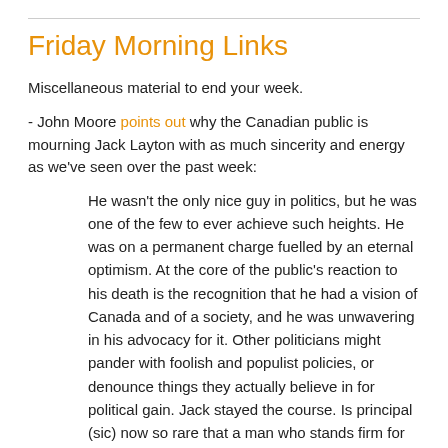Friday Morning Links
Miscellaneous material to end your week.
- John Moore points out why the Canadian public is mourning Jack Layton with as much sincerity and energy as we've seen over the past week:
He wasn't the only nice guy in politics, but he was one of the few to ever achieve such heights. He was on a permanent charge fuelled by an eternal optimism. At the core of the public's reaction to his death is the recognition that he had a vision of Canada and of a society, and he was unwavering in his advocacy for it. Other politicians might pander with foolish and populist policies, or denounce things they actually believe in for political gain. Jack stayed the course. Is principal (sic) now so rare that a man who stands firm for those things he believes in is seen as